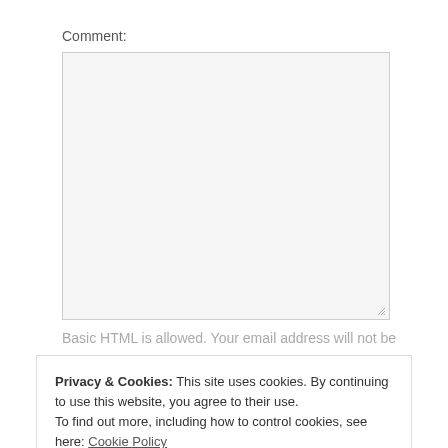Comment:
[Figure (other): Empty comment textarea input box with light gray background and resize handle in bottom-right corner]
Basic HTML is allowed. Your email address will not be
Privacy & Cookies: This site uses cookies. By continuing to use this website, you agree to their use.
To find out more, including how to control cookies, see here: Cookie Policy
Close and accept